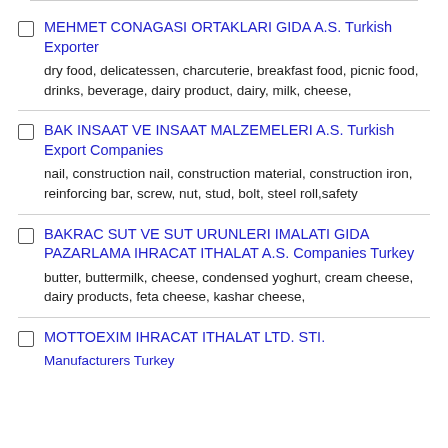MEHMET CONAGASI ORTAKLARI GIDA A.S. Turkish Exporter
dry food, delicatessen, charcuterie, breakfast food, picnic food, drinks, beverage, dairy product, dairy, milk, cheese,
BAK INSAAT VE INSAAT MALZEMELERI A.S. Turkish Export Companies
nail, construction nail, construction material, construction iron, reinforcing bar, screw, nut, stud, bolt, steel roll,safety
BAKRAC SUT VE SUT URUNLERI IMALATI GIDA PAZARLAMA IHRACAT ITHALAT A.S. Companies Turkey
butter, buttermilk, cheese, condensed yoghurt, cream cheese, dairy products, feta cheese, kashar cheese,
MOTTOEXIM IHRACAT ITHALAT LTD. STI.
Manufacturers Turkey